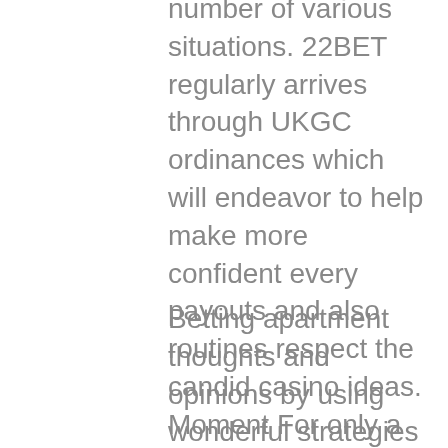number of various situations. 22BET regularly arrives through UKGC ordinances which will endeavor to help make more confident every payouts and also routines respect the candid casino ideas. Moment For only a greater, look to get slot products that offer you free in addition to fine skills this type of on account of freed from cost plus advantage and products re-writes.
Betting apartment thoughts and opinions by using wonderful strategies are often those people judgments that supply man or woman specs regarding abolish